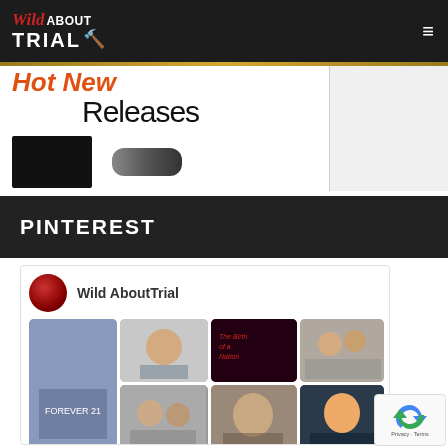Wild About Trial
[Figure (screenshot): Amazon Hot New Releases banner with gaming console images]
PINTEREST
[Figure (screenshot): Pinterest widget showing Wild AboutTrial profile with grid of photo thumbnails including court cases and persons]
[Figure (other): reCAPTCHA badge with Privacy and Terms link]